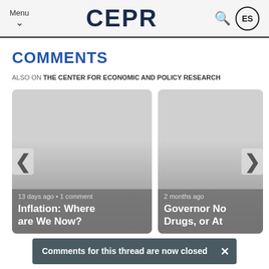Menu | CEPR | ES
COMMENTS
ALSO ON THE CENTER FOR ECONOMIC AND POLICY RESEARCH
[Figure (screenshot): Card showing article: '13 days ago • 1 comment' and title 'Inflation: Where are We Now?' with left navigation arrow]
[Figure (screenshot): Card showing article: '2 months ago' and title 'Governor Newsom Do... Drugs, or At...' with right navigation arrow]
Comments for this thread are now closed